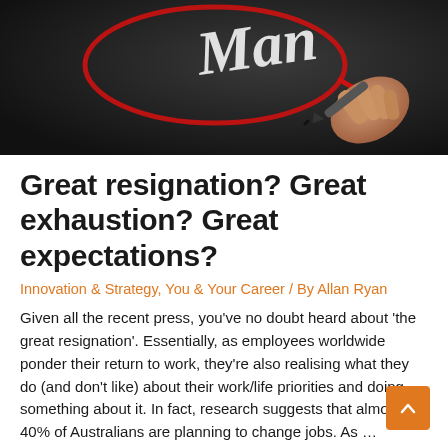[Figure (photo): A hand holding a marker writing cursive text on a dark blackboard surface, with a red circle drawn around part of the text. Partial text visible resembling 'Man' or similar word.]
Great resignation? Great exhaustion? Great expectations?
Innovation & Strategy, You & Your Career / By Allan Ryan
Given all the recent press, you've no doubt heard about 'the great resignation'. Essentially, as employees worldwide ponder their return to work, they're also realising what they do (and don't like) about their work/life priorities and doing something about it. In fact, research suggests that almo… 40% of Australians are planning to change jobs. As …